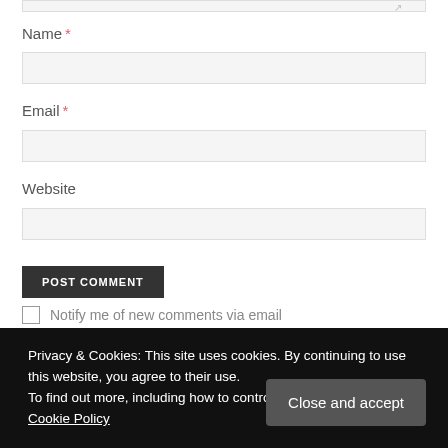Name *
Email *
Website
POST COMMENT
Notify me of new comments via email
Privacy & Cookies: This site uses cookies. By continuing to use this website, you agree to their use.
To find out more, including how to control cookies, see here: Our Cookie Policy
Close and accept